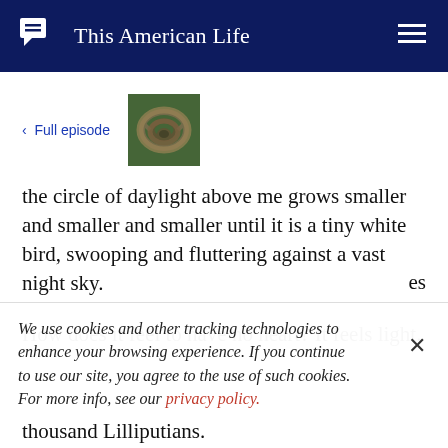This American Life
< Full episode
[Figure (photo): Thumbnail image of a coiled rope or snake-like shape on grass, used as episode artwork]
the circle of daylight above me grows smaller and smaller and smaller until it is a tiny white bird, swooping and fluttering against a vast night sky.
How does it feel to have no heart? It feels light.
We use cookies and other tracking technologies to enhance your browsing experience. If you continue to use our site, you agree to the use of such cookies. For more info, see our privacy policy.
thousand Lilliputians.